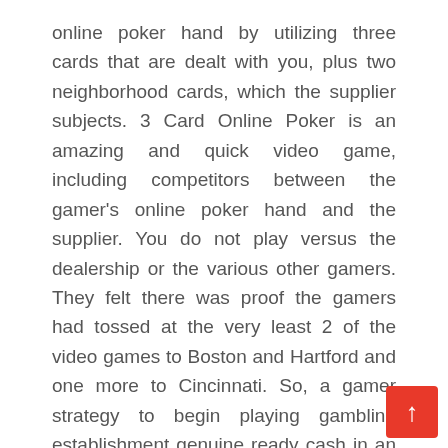online poker hand by utilizing three cards that are dealt with you, plus two neighborhood cards, which the supplier subjects. 3 Card Online Poker is an amazing and quick video game, including competitors between the gamer's online poker hand and the supplier. You do not play versus the dealership or the various other gamers. They felt there was proof the gamers had tossed at the very least 2 of the video games to Boston and Hartford and one more to Cincinnati. So, a gamer strategy to begin playing gambling establishment genuine ready cash in an online gambling establishment. The ideal component is that you have accessibility to the actual cash ports online, which is an incredible enhancement.
Our gamers seek the best in on-line gambling establishment enjoyment and mobile Gambling establishment & port gambling establishment